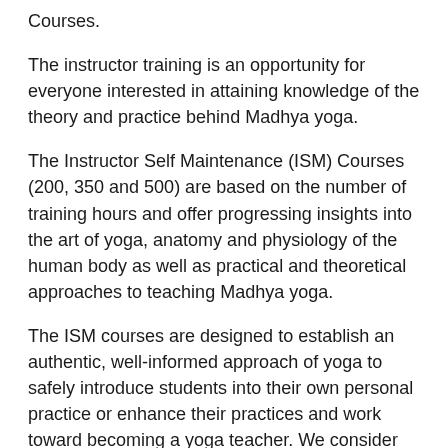Courses.
The instructor training is an opportunity for everyone interested in attaining knowledge of the theory and practice behind Madhya yoga.
The Instructor Self Maintenance (ISM) Courses (200, 350 and 500) are based on the number of training hours and offer progressing insights into the art of yoga, anatomy and physiology of the human body as well as practical and theoretical approaches to teaching Madhya yoga.
The ISM courses are designed to establish an authentic, well-informed approach of yoga to safely introduce students into their own personal practice or enhance their practices and work toward becoming a yoga teacher. We consider this to be a crucial aspect so that our students acquire a genuine understanding of the human body and the effects of yoga asanas in order to safeguard themselves and possibly future students and to attain and maintain optimum health and